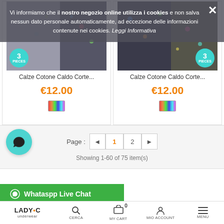[Figure (screenshot): Two product cards showing socks (Calze Cotone Caldo Corte) with '3 PIECES' badge, product images in grey/dark tones]
Calze Cotone Caldo Corte...
€12.00
Calze Cotone Caldo Corte...
€12.00
Vi informiamo che il nostro negozio online utilizza i cookies e non salva nessun dato personale automaticamente, ad eccezione delle informazioni contenute nei cookies.
Page : ◄ 1 2 ►
Showing 1-60 of 75 item(s)
Whataspp Live Chat
CATEGORIES
LADY•C underwear | CERCA | MY CART 0 | MIO ACCOUNT | MENU